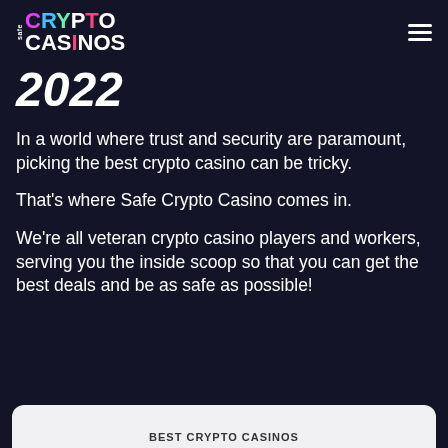safe CRYPTO CASINOS
2022
In a world where trust and security are paramount, picking the best crypto casino can be tricky.
That's where Safe Crypto Casino comes in.
We're all veteran crypto casino players and workers, serving you the inside scoop so that you can get the best deals and be as safe as possible!
BEST CRYPTO CASINOS